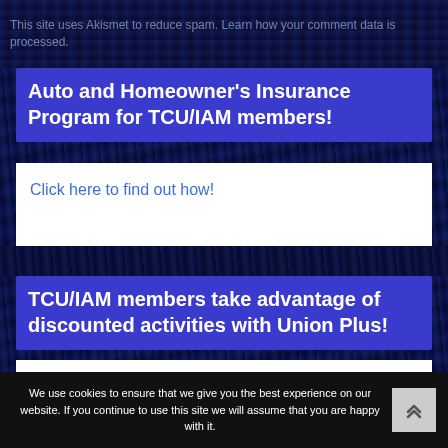This site uses Akismet to reduce spam. Learn how your comment data is processed.
Auto and Homeowner's Insurance Program for TCU/IAM members!
Click here to find out how!
TCU/IAM members take advantage of discounted activities with Union Plus!
Up to 25% on Car Rentals with Avis, Budget, Hertz, Dollar, Thrifty and Payless
Book flights and hotels together and save with Expedia
Tours and restaurant discounts
Discounts for water/theme parks, concerts and sporting events tickets
Save up to 24% on movie theater eTickets
We use cookies to ensure that we give you the best experience on our website. If you continue to use this site we will assume that you are happy with it.